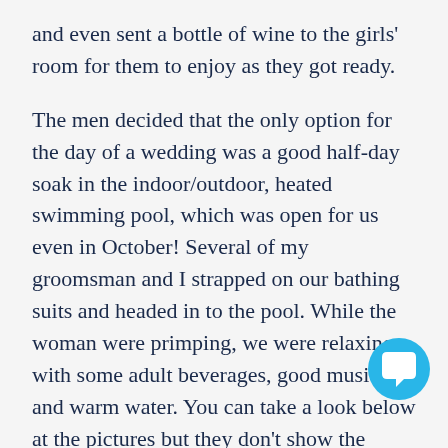and even sent a bottle of wine to the girls' room for them to enjoy as they got ready.
The men decided that the only option for the day of a wedding was a good half-day soak in the indoor/outdoor, heated swimming pool, which was open for us even in October! Several of my groomsman and I strapped on our bathing suits and headed in to the pool. While the woman were primping, we were relaxing with some adult beverages, good music and warm water. You can take a look below at the pictures but they don't show the infinity edge that looks to be pouring off into the lake from the amazing vi…
As we finally got out of the pool and got our make-up and hair finished, the ceremony was